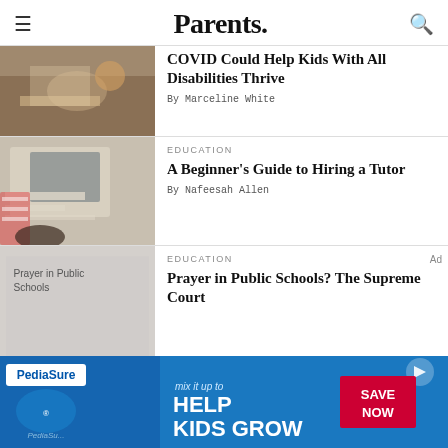Parents.
[Figure (photo): Person at desk with laptop and coffee, warm lighting]
COVID Could Help Kids With All Disabilities Thrive
By Marceline White
[Figure (photo): Student working at laptop with papers and documents spread on desk, red striped sweater]
EDUCATION
A Beginner's Guide to Hiring a Tutor
By Nafeesah Allen
[Figure (photo): Prayer in Public Schools placeholder image]
EDUCATION
Prayer in Public Schools? The Supreme Court
[Figure (infographic): PediaSure advertisement: mix it up to HELP KIDS GROW, SAVE NOW]